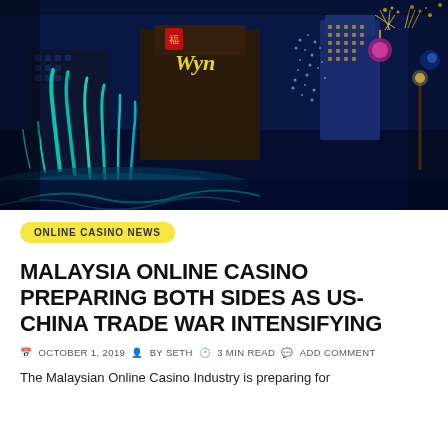[Figure (photo): Nighttime photo of illuminated casino buildings with colorful fountains and fireworks, featuring the Wynn casino sign and glittering blue and gold lights in what appears to be Macau.]
ONLINE CASINO NEWS
MALAYSIA ONLINE CASINO PREPARING BOTH SIDES AS US-CHINA TRADE WAR INTENSIFYING
OCTOBER 1, 2019  BY SETH  3 MIN READ  ADD COMMENT
The Malaysian Online Casino Industry is preparing for